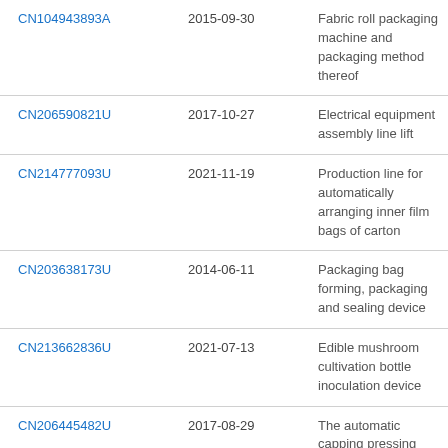| Patent ID | Date | Description |
| --- | --- | --- |
| CN104943893A | 2015-09-30 | Fabric roll packaging machine and packaging method thereof |
| CN206590821U | 2017-10-27 | Electrical equipment assembly line lift |
| CN214777093U | 2021-11-19 | Production line for automatically arranging inner film bags of carton |
| CN203638173U | 2014-06-11 | Packaging bag forming, packaging and sealing device |
| CN213662836U | 2021-07-13 | Edible mushroom cultivation bottle inoculation device |
| CN206445482U | 2017-08-29 | The automatic capping pressing machine of fitted seal glue bottle placer |
| CN204341437U | 2015-05-20 | Fruit filling automatic packaging manufacturing line and capping device thereof |